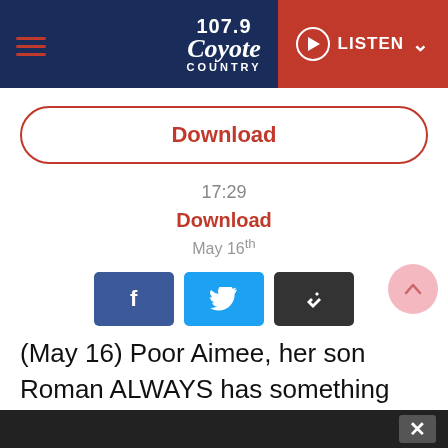[Figure (screenshot): 107.9 Coyote Country radio station website header with hamburger menu, logo, and red LISTEN button]
[Figure (other): Download button (outlined, red border and text) on white background]
17:29
Download
May 16th
[Figure (other): Social share buttons: Facebook (blue), Twitter (cyan), Link/copy (dark)]
(May 16) Poor Aimee, her son Roman ALWAYS has something going on and the other morning, he lost his mind. Hear why at the top of today's
✕